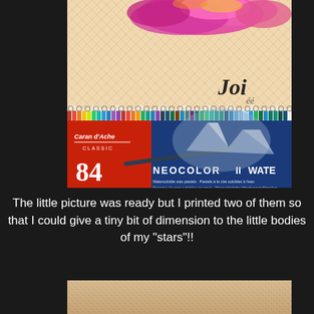[Figure (photo): Photo showing an art journal or sketchbook with colorful mixed media artwork at top (pink/magenta flowers or abstract shapes on a patterned background), a spiral-bound sketchbook behind it, and in the foreground a Caran d'Ache NEOCOLOR II water-soluble wax pastels box set of 84 colors (blue box with red stripe showing the number 84 and product name). The word 'Joi' appears on the journal cover.]
The little picture was ready but I printed two of them so that I could give a tiny bit of dimension to the little bodies of my "stars"!!
[Figure (photo): Partial photo of a textured fabric or canvas material with a woven grid pattern in beige/tan colors, partially visible at the bottom of the page.]